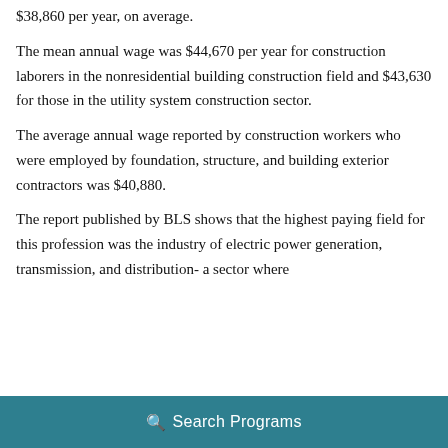$38,860 per year, on average.
The mean annual wage was $44,670 per year for construction laborers in the nonresidential building construction field and $43,630 for those in the utility system construction sector.
The average annual wage reported by construction workers who were employed by foundation, structure, and building exterior contractors was $40,880.
The report published by BLS shows that the highest paying field for this profession was the industry of electric power generation, transmission, and distribution- a sector where
Search Programs